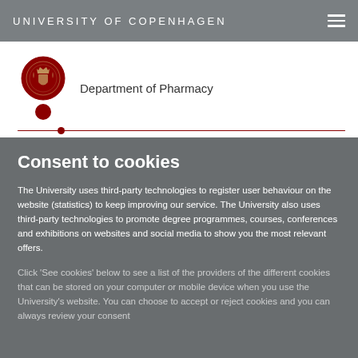UNIVERSITY OF COPENHAGEN
[Figure (logo): University of Copenhagen circular seal/crest logo in dark red, with a smaller dark red dot below it]
Department of Pharmacy
Consent to cookies
The University uses third-party technologies to register user behaviour on the website (statistics) to keep improving our service. The University also uses third-party technologies to promote degree programmes, courses, conferences and exhibitions on websites and social media to show you the most relevant offers.
Click 'See cookies' below to see a list of the providers of the different cookies that can be stored on your computer or mobile device when you use the University's website. You can choose to accept or reject cookies and you can always review your consent